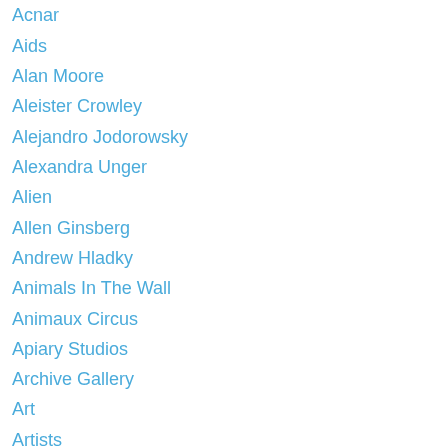Acnar
Aids
Alan Moore
Aleister Crowley
Alejandro Jodorowsky
Alexandra Unger
Alien
Allen Ginsberg
Andrew Hladky
Animals In The Wall
Animaux Circus
Apiary Studios
Archive Gallery
Art
Artists
Art News
Arts
Arts News
Austin Osman Spare
Back Online
Bat For Lashes